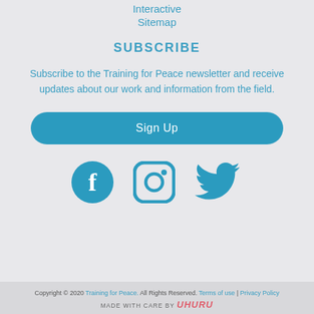Interactive
Sitemap
SUBSCRIBE
Subscribe to the Training for Peace newsletter and receive updates about our work and information from the field.
Sign Up
[Figure (infographic): Three social media icons: Facebook (circle with f), Instagram (camera icon), Twitter (bird icon), all in blue]
Copyright © 2020 Training for Peace. All Rights Reserved. Terms of use | Privacy Policy MADE WITH CARE BY uhuru